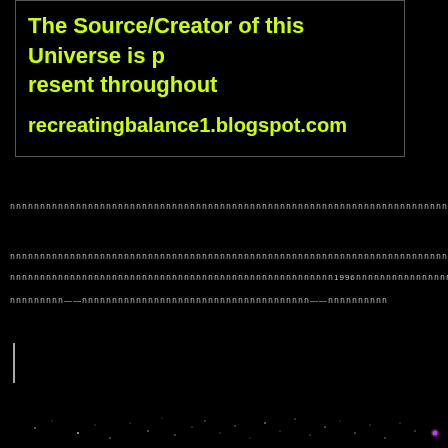The Source/Creator of this Universe is present throughout
recreatingbalance1.blogspot.com
Thai script text line 1
Thai script text line 2 with 1996
Thai script text line 3 with dashes
[Figure (photo): Starfield / deep space photograph showing scattered white dots (stars) on black background with one bright purple/magenta star at right]